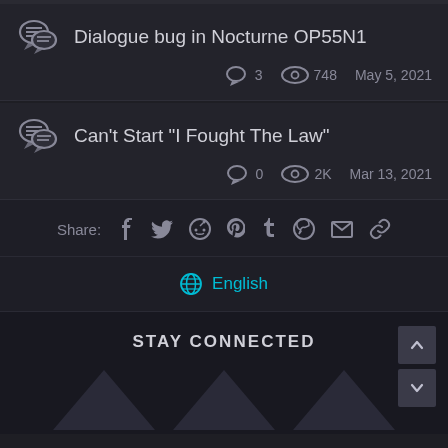Dialogue bug in Nocturne OP55N1
3 replies · 748 views · May 5, 2021
Can't Start "I Fought The Law"
0 replies · 2K views · Mar 13, 2021
Share: (social icons: Facebook, Twitter, Reddit, Pinterest, Tumblr, WhatsApp, Email, Link)
🌐 English
STAY CONNECTED